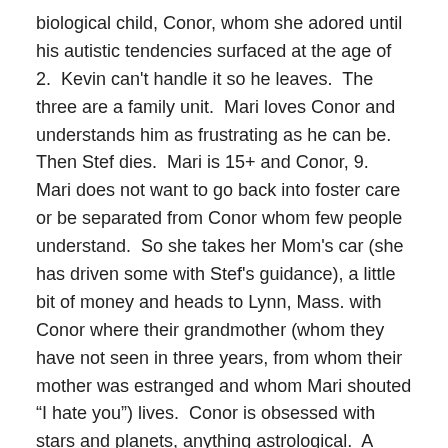biological child, Conor, whom she adored until his autistic tendencies surfaced at the age of 2.  Kevin can't handle it so he leaves.  The three are a family unit.  Mari loves Conor and understands him as frustrating as he can be.  Then Stef dies.  Mari is 15+ and Conor, 9.  Mari does not want to go back into foster care or be separated from Conor whom few people understand.  So she takes her Mom's car (she has driven some with Stef's guidance), a little bit of money and heads to Lynn, Mass. with Conor where their grandmother (whom they have not seen in three years, from whom their mother was estranged and whom Mari shouted “I hate you”) lives.  Conor is obsessed with stars and planets, anything astrological.  A solar eclipse is coming that can be viewed from a small town in Missouri (they live in LA) and Conor demands they go to see it – the only way that Mari can get him to go is